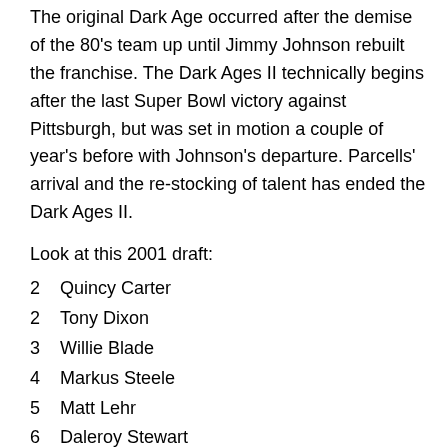The original Dark Age occurred after the demise of the 80's team up until Jimmy Johnson rebuilt the franchise. The Dark Ages II technically begins after the last Super Bowl victory against Pittsburgh, but was set in motion a couple of year's before with Johnson's departure. Parcells' arrival and the re-stocking of talent has ended the Dark Ages II.
Look at this 2001 draft:
2  Quincy Carter
2  Tony Dixon
3  Willie Blade
4  Markus Steele
5  Matt Lehr
6  Daleroy Stewart
7  Colston Weatherington